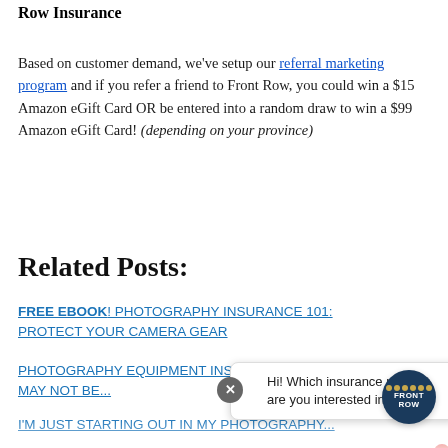Row Insurance
Based on customer demand, we've setup our referral marketing program and if you refer a friend to Front Row, you could win a $15 Amazon eGift Card OR be entered into a random draw to win a $99 Amazon eGift Card! (depending on your province)
Related Posts:
FREE EBOOK! PHOTOGRAPHY INSURANCE 101: PROTECT YOUR CAMERA GEAR
PHOTOGRAPHY EQUIPMENT INSURANCE: YOU MAY NOT BE...
I'M JUST STARTING OUT IN MY PHOTOGRAPHY...
Hi! Which insurance product are you interested in?